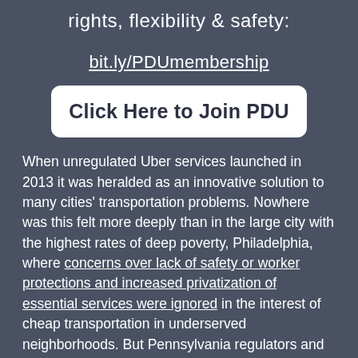rights, flexibility & safety:
bit.ly/PDUmembership
Click Here to Join PDU
When unregulated Uber services launched in 2013 it was heralded as an innovative solution to many cities' transportation problems. Nowhere was this felt more deeply than in the large city with the highest rates of deep poverty, Philadelphia, where concerns over lack of safety or worker protections and increased privatization of essential services were ignored in the interest of cheap transportation in underserved neighborhoods. But Pennsylvania regulators and legislators may finally be open to accountability for allowing a